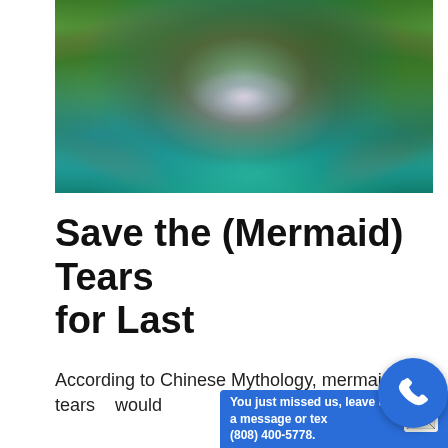[Figure (photo): Aerial or close-up view of a sea cave with vivid green algae-covered rocks, turquoise water, and a bright light reflection in the center, with a small figure visible in a kayak or similar watercraft.]
Save the (Mermaid) Tears for Last
According to Chinese Mythology, mermaid tears would...
You just missed us, leave us a message or text (808) 400-5778.